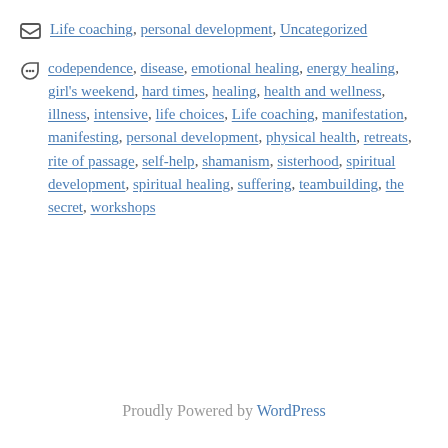Categories: Life coaching, personal development, Uncategorized
Tags: codependence, disease, emotional healing, energy healing, girl's weekend, hard times, healing, health and wellness, illness, intensive, life choices, Life coaching, manifestation, manifesting, personal development, physical health, retreats, rite of passage, self-help, shamanism, sisterhood, spiritual development, spiritual healing, suffering, teambuilding, the secret, workshops
Proudly Powered by WordPress